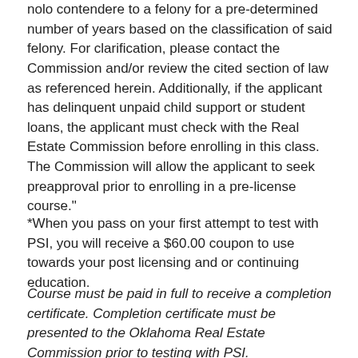nolo contendere to a felony for a pre-determined number of years based on the classification of said felony. For clarification, please contact the Commission and/or review the cited section of law as referenced herein. Additionally, if the applicant has delinquent unpaid child support or student loans, the applicant must check with the Real Estate Commission before enrolling in this class. The Commission will allow the applicant to seek preapproval prior to enrolling in a pre-license course."
*When you pass on your first attempt to test with PSI, you will receive a $60.00 coupon to use towards your post licensing and or continuing education.
Course must be paid in full to receive a completion certificate. Completion certificate must be presented to the Oklahoma Real Estate Commission prior to testing with PSI.